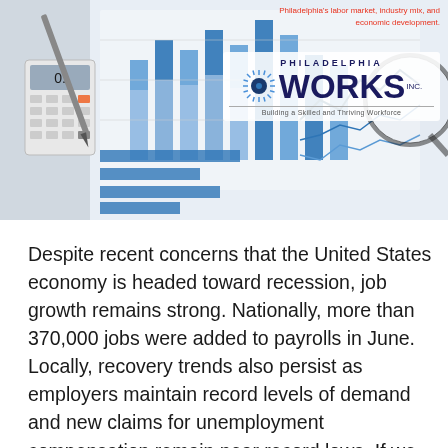[Figure (photo): Header image showing a calculator, pen, financial charts with blue bar graphs and line graphs on paper, and a magnifying glass on the right side.]
Philadelphia's labor market, industry mix, and economic development.
[Figure (logo): Philadelphia Works Inc. logo — sunburst circle icon next to 'PHILADELPHIA WORKS INC.' text with tagline 'Building a Skilled and Thriving Workforce']
Despite recent concerns that the United States economy is headed toward recession, job growth remains strong. Nationally, more than 370,000 jobs were added to payrolls in June. Locally, recovery trends also persist as employers maintain record levels of demand and new claims for unemployment compensation remain near record lows. If we are headed toward recession, it